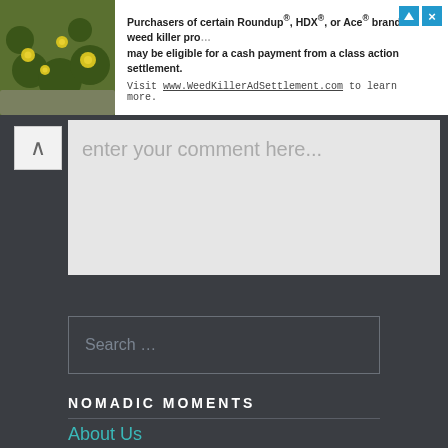[Figure (other): Advertisement banner: photo of yellow flowers on left, text about Roundup/HDX/Ace brand weed killer class action settlement on right, with WeedKillerAdSettlement.com URL]
Enter your comment here...
Search …
NOMADIC MOMENTS
About Us